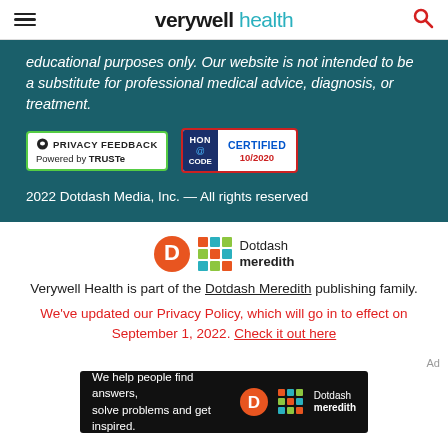verywell health
educational purposes only. Our website is not intended to be a substitute for professional medical advice, diagnosis, or treatment.
[Figure (logo): Privacy Feedback badge powered by TRUSTe, and HON Code Certified 10/2020 badge]
2022 Dotdash Media, Inc. — All rights reserved
[Figure (logo): Dotdash Meredith logo]
Verywell Health is part of the Dotdash Meredith publishing family.
We've updated our Privacy Policy, which will go in to effect on September 1, 2022. Check it out here
[Figure (screenshot): Ad banner: We help people find answers, solve problems and get inspired. Dotdash Meredith logo on dark background]